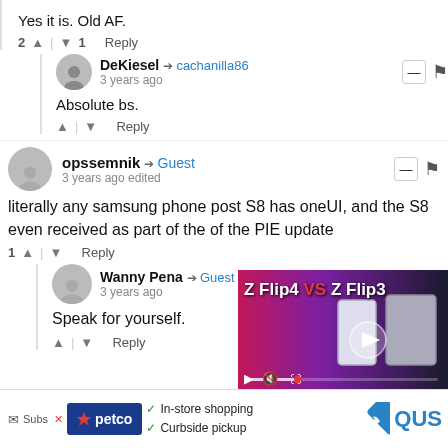Yes it is. Old AF.
2 ↑ | ↓ 1   Reply
DeKiesel → cachanilla86
3 years ago
Absolute bs.
↑ | ↓   Reply
opssemnik → Guest
3 years ago edited
literally any samsung phone post S8 has oneUI, and the S8 even received as part of the of the PIE update
1 ↑ | ↓   Reply
Wanny Pena → Guest
3 years ago
Speak for yourself.
↑ | ↓   Reply
[Figure (screenshot): Video thumbnail overlay showing 'Z Flip4 VS Z Flip3' with play button and video controls]
✉ Subs... ✓ In-store shopping ✓ Curbside pickup  petco  QUS